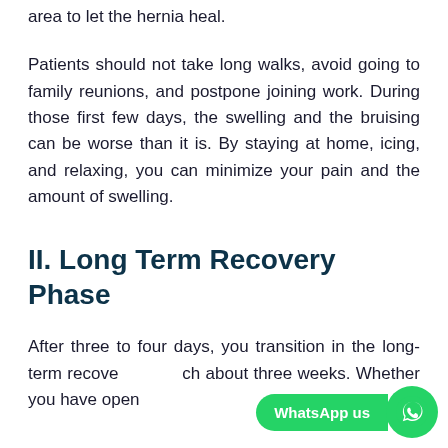area to let the hernia heal.
Patients should not take long walks, avoid going to family reunions, and postpone joining work. During those first few days, the swelling and the bruising can be worse than it is. By staying at home, icing, and relaxing, you can minimize your pain and the amount of swelling.
II. Long Term Recovery Phase
After three to four days, you transition in the long-term recove... ch about three weeks. Whether you have open